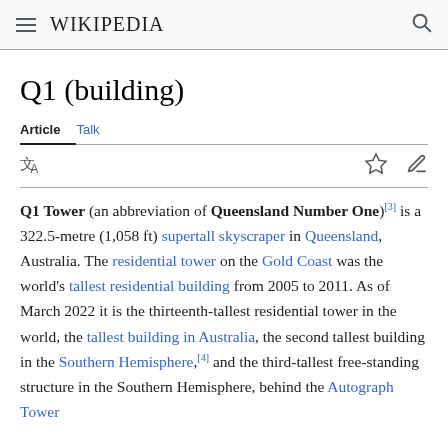Wikipedia
Q1 (building)
Article   Talk
Q1 Tower (an abbreviation of Queensland Number One)[3] is a 322.5-metre (1,058 ft) supertall skyscraper in Queensland, Australia. The residential tower on the Gold Coast was the world's tallest residential building from 2005 to 2011. As of March 2022 it is the thirteenth-tallest residential tower in the world, the tallest building in Australia, the second tallest building in the Southern Hemisphere,[4] and the third-tallest free-standing structure in the Southern Hemisphere, behind the Autograph Tower